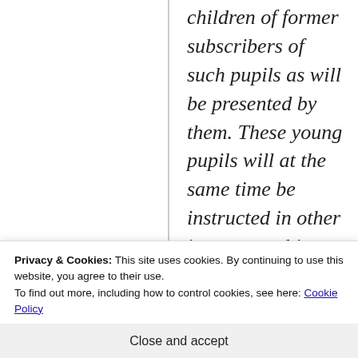children of former subscribers of such pupils as will be presented by them. These young pupils will at the same time be instructed in other important objects of learning, such as History, Geography, Arithmetic, etc., and may receive further instruction in other languages. The price of these private
Privacy & Cookies: This site uses cookies. By continuing to use this website, you agree to their use.
To find out more, including how to control cookies, see here: Cookie Policy
Close and accept